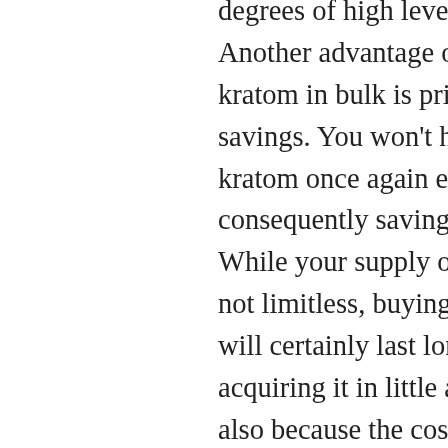degrees of high levels of caffeine. Another advantage of purchasing kratom in bulk is price financial savings. You won't have to acquire kratom once again every few days, consequently saving you money. While your supply of the powder is not limitless, buying it wholesale will certainly last longer than acquiring it in little amounts. And also because the cost of shipping is usually